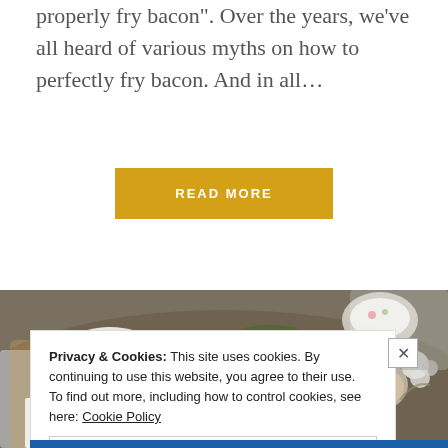properly fry bacon". Over the years, we've all heard of various myths on how to perfectly fry bacon. And in all…
READ MORE
[Figure (photo): Breakfast tray with croissant in a bowl, a bowl of fresh fruit (watermelon, apple, grapefruit), a small jar of jam, a glass bowl of orange cubes, flowers, cutlery, and a card reading HAPPY on a red napkin.]
Privacy & Cookies: This site uses cookies. By continuing to use this website, you agree to their use. To find out more, including how to control cookies, see here: Cookie Policy
Close and accept